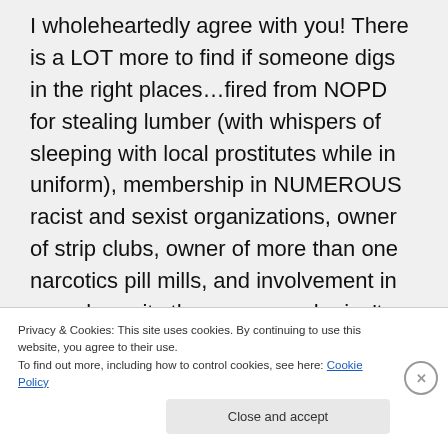I wholeheartedly agree with you! There is a LOT more to find if someone digs in the right places…fired from NOPD for stealing lumber (with whispers of sleeping with local prostitutes while in uniform), membership in NUMEROUS racist and sexist organizations, owner of strip clubs, owner of more than one narcotics pill mills, and involvement in more lawsuits than anyone who isn't a lawyer should be involved in (research how many docs from his pill mills
Privacy & Cookies: This site uses cookies. By continuing to use this website, you agree to their use.
To find out more, including how to control cookies, see here: Cookie Policy
Close and accept